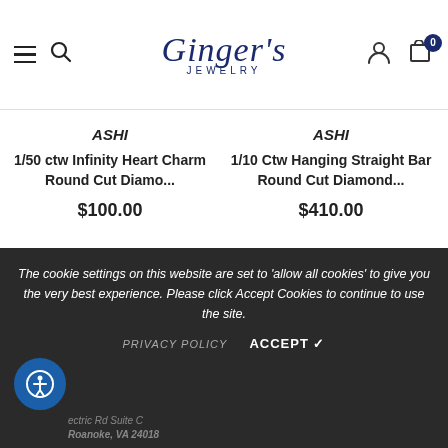Ginger's Jewelry
ASHI
1/50 ctw Infinity Heart Charm Round Cut Diamo...
$100.00
ASHI
1/10 Ctw Hanging Straight Bar Round Cut Diamond...
$410.00
The cookie settings on this website are set to 'allow all cookies' to give you the very best experience. Please click Accept Cookies to continue to use the site.
PRIVACY POLICY  ACCEPT ✓
ectric Rd Suite C
Roanoke, VA 24018